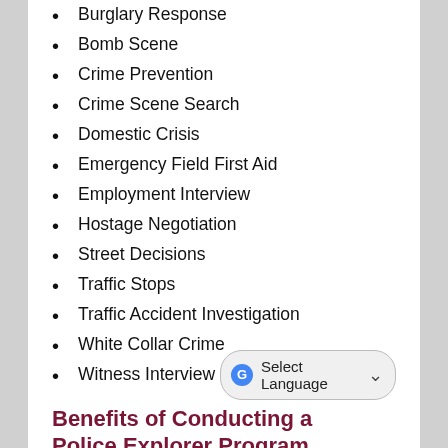Burglary Response
Bomb Scene
Crime Prevention
Crime Scene Search
Domestic Crisis
Emergency Field First Aid
Employment Interview
Hostage Negotiation
Street Decisions
Traffic Stops
Traffic Accident Investigation
White Collar Crime
Witness Interview
Benefits of Conducting a Police Explorer Program
As a person on the outside looking in, the role of the police